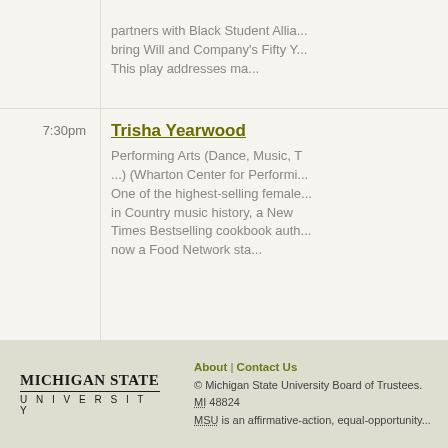partners with Black Student Allia... bring Will and Company's Fifty Y... This play addresses ma...
7:30pm
Trisha Yearwood
Performing Arts (Dance, Music, T...) (Wharton Center for Performi... One of the highest-selling female... in Country music history, a New... Times Bestselling cookbook auth... now a Food Network sta...
MICHIGAN STATE UNIVERSITY | About | Contact Us | © Michigan State University Board of Trustees. MI 48824 | MSU is an affirmative-action, equal-opportunity...